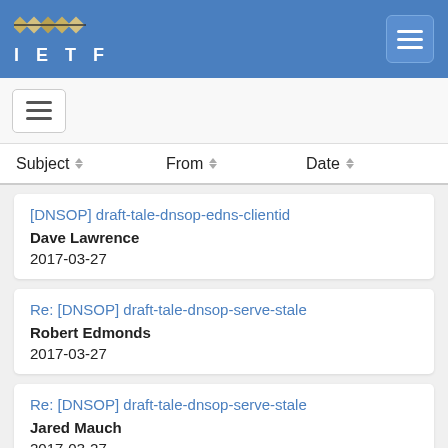IETF
[DNSOP] draft-tale-dnsop-edns-clientid | Dave Lawrence | 2017-03-27
Re: [DNSOP] draft-tale-dnsop-serve-stale | Robert Edmonds | 2017-03-27
Re: [DNSOP] draft-tale-dnsop-serve-stale | Jared Mauch | 2017-03-27
Re: [DNSOP] draft-tale-dnsop-serve-stale | P Vix